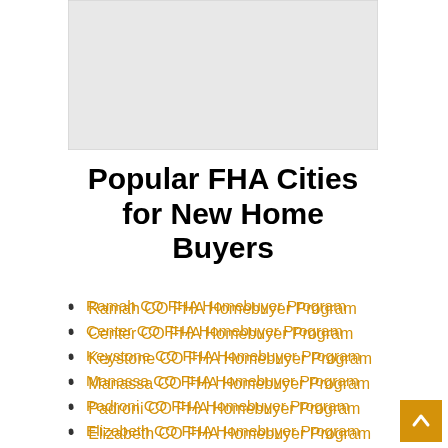[Figure (map): A light gray map background placeholder showing a geographic map area]
Popular FHA Cities for New Home Buyers
Ramah CO FHA Homebuyer Program
Center CO FHA Homebuyer Program
Keystone CO FHA Homebuyer Program
Manassa CO FHA Homebuyer Program
Padroni CO FHA Homebuyer Program
Elizabeth CO FHA Homebuyer Program
Franktown CO FHA Homebuyer Program
Orchard City CO FHA Homebuyer Program